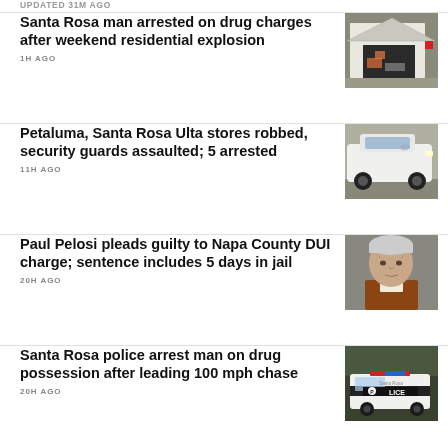UPDATED 31M AGO
Santa Rosa man arrested on drug charges after weekend residential explosion
1H AGO
[Figure (photo): Damaged garage with equipment inside after residential explosion]
Petaluma, Santa Rosa Ulta stores robbed, security guards assaulted; 5 arrested
11H AGO
[Figure (photo): White SUV with damage, possibly from robbery getaway vehicle]
Paul Pelosi pleads guilty to Napa County DUI charge; sentence includes 5 days in jail
20H AGO
[Figure (photo): Mugshot of Paul Pelosi, elderly man with gray hair]
Santa Rosa police arrest man on drug possession after leading 100 mph chase
20H AGO
[Figure (photo): Santa Rosa Police car with POLICE insignia visible]